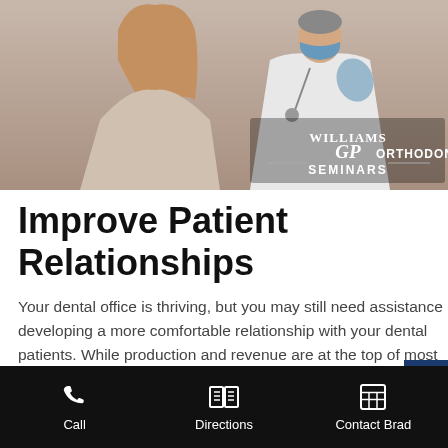[Figure (photo): Dental professional in white coat and gloves examining or demonstrating something to a patient, with Williams GP Orthodontic Seminars logo overlay in white text]
Improve Patient Relationships
Your dental office is thriving, but you may still need assistance developing a more comfortable relationship with your dental patients. While production and revenue are at the top of most dentists' list of goals, you should also aim to make dental patients happy and try to make their dental...
Call | Directions | Contact Brad